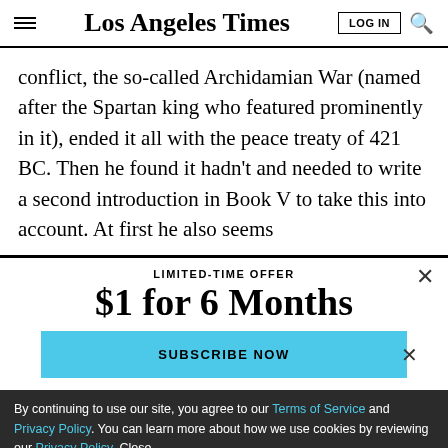Los Angeles Times
conflict, the so-called Archidamian War (named after the Spartan king who featured prominently in it), ended it all with the peace treaty of 421 BC. Then he found it hadn’t and needed to write a second introduction in Book V to take this into account. At first he also seems
LIMITED-TIME OFFER
$1 for 6 Months
SUBSCRIBE NOW
By continuing to use our site, you agree to our Terms of Service and Privacy Policy. You can learn more about how we use cookies by reviewing our Privacy Policy. Close